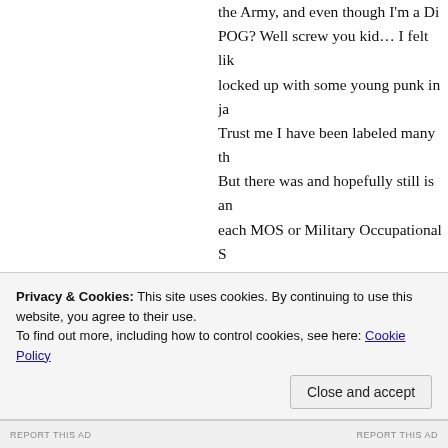the Army, and even though I'm a Di POG? Well screw you kid… I felt li locked up with some young punk in j Trust me I have been labeled many t But there was and hopefully still is a each MOS or Military Occupational S who graduated in 2011, says Dad Off So, I take exception to the fact that o answer to all? Bullshit. If that is serio personnel calling every one else that i had all better get ready for the name an all time low and all the Combat ex of the officer ranks slashed, the went And Yes there were a lot of Combat S
Privacy & Cookies: This site uses cookies. By continuing to use this website, you agree to their use.
To find out more, including how to control cookies, see here: Cookie Policy
Close and accept
REPORT THIS AD